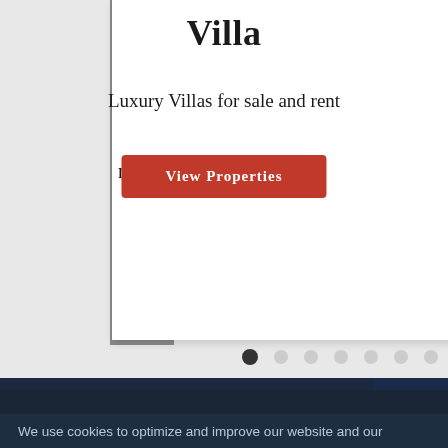Villa
Luxury Villas for sale and rent
VIEW PROPERTIES
[Figure (screenshot): Carousel navigation dots with first dot active (dark), followed by 11 lighter dots]
[Figure (screenshot): Search icon (magnifying glass) on dark navy background]
[Figure (screenshot): Mail/envelope icon on red background]
We use cookies to optimize and improve our website and our service.
ACCEPT ALL COOKIES
Cookie Policy   Privacy Statement   Impressum